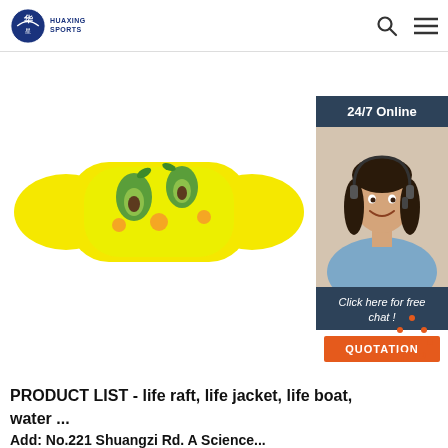HUAXING SPORTS
[Figure (photo): Yellow inflatable children's swim arm band / puddle jumper with avocado fruit pattern on white background]
[Figure (photo): 24/7 Online customer service sidebar showing a smiling woman with headset, 'Click here for free chat!' text, and orange QUOTATION button]
[Figure (other): Orange dotted TOP button arrow icon]
PRODUCT LIST - life raft, life jacket, life boat, water ...
Add: No.221 Shuangzi Rd. A Science...